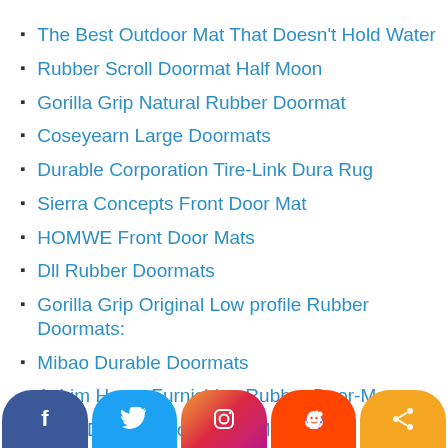The Best Outdoor Mat That Doesn't Hold Water
Rubber Scroll Doormat Half Moon
Gorilla Grip Natural Rubber Doormat
Coseyearn Large Doormats
Durable Corporation Tire-Link Dura Rug
Sierra Concepts Front Door Mat
HOMWE Front Door Mats
Dll Rubber Doormats
Gorilla Grip Original Low profile Rubber Doormats:
Mibao Durable Doormats
Achim Home Furnishing Rubber Door-Mat
DEXI Durable Front Door Mat:
Durable Corporation Rubber Entrance Mat